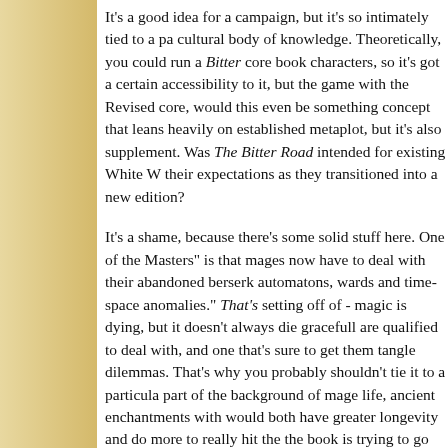It's a good idea for a campaign, but it's so intimately tied to a particular cultural body of knowledge. Theoretically, you could run a Bitter core book characters, so it's got a certain accessibility to it, but the game with the Revised core, would this even be something concept that leans heavily on established metaplot, but it's also supplement. Was The Bitter Road intended for existing White W their expectations as they transitioned into a new edition?
It's a shame, because there's some solid stuff here. One of the Masters" is that mages now have to deal with their abandoned berserk automatons, wards and time-space anomalies." That's setting off of - magic is dying, but it doesn't always die gracefully are qualified to deal with, and one that's sure to get them tangled dilemmas. That's why you probably shouldn't tie it to a particular part of the background of mage life, ancient enchantments with would both have greater longevity and do more to really hit the the book is trying to go for.
Same with the section about finding a Master to mentor you in general storytelling advice, but tied inexplicably to a specific set
Ultimately, if I had one criticism of Mage Revised so far it's that elements. The Bitter Road spends a lot of time talking about the but it mostly boils down to "other mages." It makes the factions